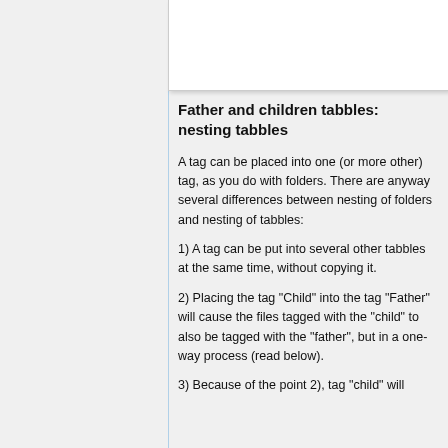Father and children tabbles: nesting tabbles
A tag can be placed into one (or more other) tag, as you do with folders. There are anyway several differences between nesting of folders and nesting of tabbles:
1) A tag can be put into several other tabbles at the same time, without copying it.
2) Placing the tag "Child" into the tag "Father" will cause the files tagged with the "child" to also be tagged with the "father", but in a one-way process (read below).
3) Because of the point 2), tag "child" will